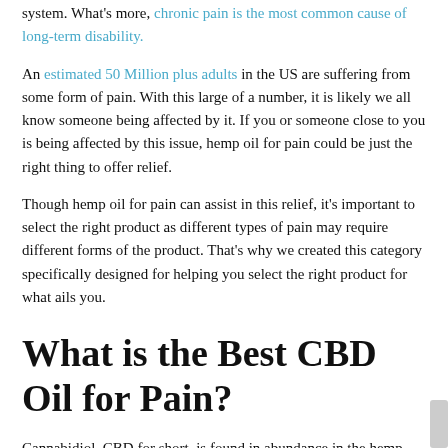system. What's more, chronic pain is the most common cause of long-term disability.
An estimated 50 Million plus adults in the US are suffering from some form of pain. With this large of a number, it is likely we all know someone being affected by it. If you or someone close to you is being affected by this issue, hemp oil for pain could be just the right thing to offer relief.
Though hemp oil for pain can assist in this relief, it's important to select the right product as different types of pain may require different forms of the product. That's why we created this category specifically designed for helping you select the right product for what ails you.
What is the Best CBD Oil for Pain?
Cannabidiol, CBD for short, is found in abundance in the hemp plant. This is how hemp has been shown to provide relief...